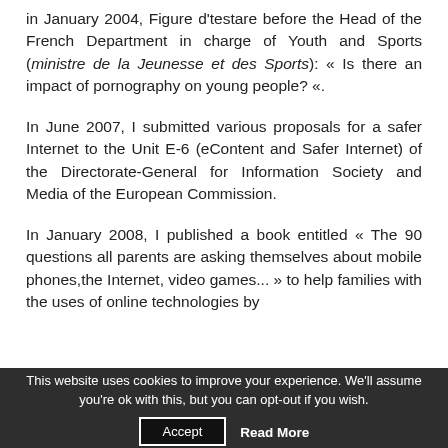In January 2004, Figure d'testare before the Head of the French Department in charge of Youth and Sports (ministre de la Jeunesse et des Sports): « Is there an impact of pornography on young people? «.
In June 2007, I submitted various proposals for a safer Internet to the Unit E-6 (eContent and Safer Internet) of the Directorate-General for Information Society and Media of the European Commission.
In January 2008, I published a book entitled « The 90 questions all parents are asking themselves about mobile phones,the Internet, video games... » to help families with the uses of online technologies by
This website uses cookies to improve your experience. We'll assume you're ok with this, but you can opt-out if you wish.